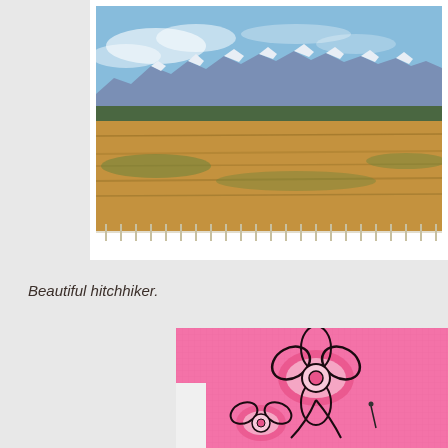[Figure (photo): Landscape photo showing golden prairie grasslands in the foreground with a wooden fence line, and snow-capped mountain range in the background under a blue sky with scattered clouds.]
Beautiful hitchhiker.
[Figure (photo): Close-up photo of a pink textile/jersey featuring a black and pink floral or butterfly graphic design, with white fabric visible at edges.]